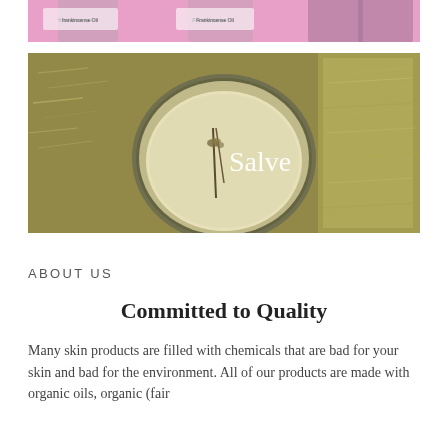[Figure (photo): Top portion of image showing frankincense oil bottles on a pink/magenta background, partially cropped]
[Figure (photo): Overhead photo of a salve tin with herbs/botanicals inside, surrounded by shredded material and a block of yellowish wax, with the word 'Salve' overlaid in white text]
ABOUT US
Committed to Quality
Many skin products are filled with chemicals that are bad for your skin and bad for the environment.  All of our products are made with organic oils, organic (fair